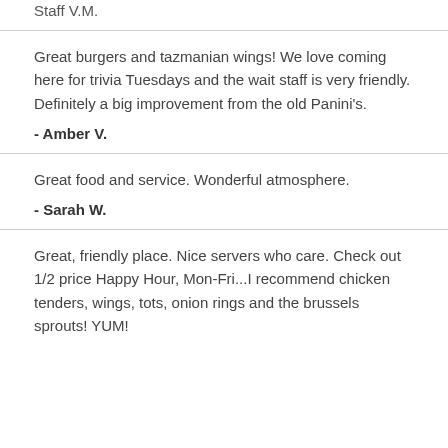Staff V.M.
Great burgers and tazmanian wings! We love coming here for trivia Tuesdays and the wait staff is very friendly. Definitely a big improvement from the old Panini's.
- Amber V.
Great food and service. Wonderful atmosphere.
- Sarah W.
Great, friendly place. Nice servers who care. Check out 1/2 price Happy Hour, Mon-Fri...I recommend chicken tenders, wings, tots, onion rings and the brussels sprouts! YUM!